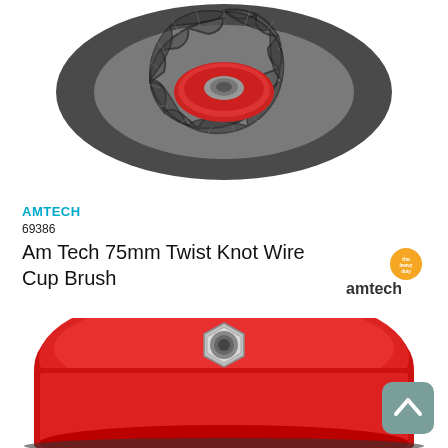[Figure (photo): Top-down view of a twisted knot wire cup brush showing the dark twisted steel wire bristles arranged in a circular pattern with a red center hub]
AMTECH
69386
Am Tech 75mm Twist Knot Wire Cup Brush
[Figure (logo): Amtech brand logo with orange circular badge]
[Figure (photo): Bottom view of the red wire cup brush showing the metallic hex nut threaded spindle mount on the red steel cup back]
[Figure (other): Scroll-to-top navigation button, grey-teal rounded square with upward chevron arrow]